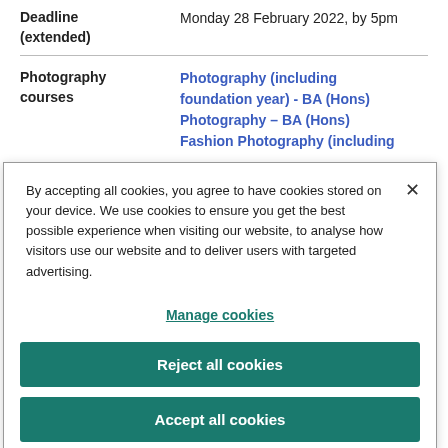| Deadline (extended) | Monday 28 February 2022, by 5pm |
| Photography courses | Photography (including foundation year) - BA (Hons)
Photography – BA (Hons)
Fashion Photography (including |
By accepting all cookies, you agree to have cookies stored on your device. We use cookies to ensure you get the best possible experience when visiting our website, to analyse how visitors use our website and to deliver users with targeted advertising.
Manage cookies
Reject all cookies
Accept all cookies